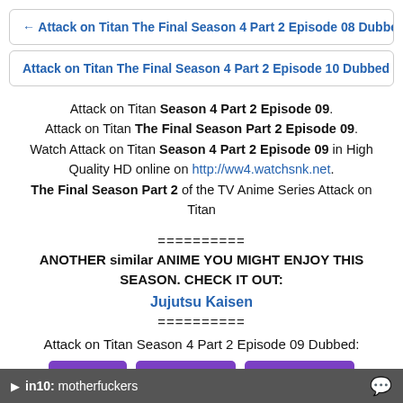← Attack on Titan The Final Season 4 Part 2 Episode 08 Dubbed
Attack on Titan The Final Season 4 Part 2 Episode 10 Dubbed →
Attack on Titan Season 4 Part 2 Episode 09. Attack on Titan The Final Season Part 2 Episode 09. Watch Attack on Titan Season 4 Part 2 Episode 09 in High Quality HD online on http://ww4.watchsnk.net. The Final Season Part 2 of the TV Anime Series Attack on Titan
==========
ANOTHER similar ANIME YOU MIGHT ENJOY THIS SEASON. CHECK IT OUT:
Jujutsu Kaisen
==========
Attack on Titan Season 4 Part 2 Episode 09 Dubbed:
[Figure (other): Three purple buttons labeled DIRECT, DIRECT HD, MP4UPLOAD]
in10: motherfuckers